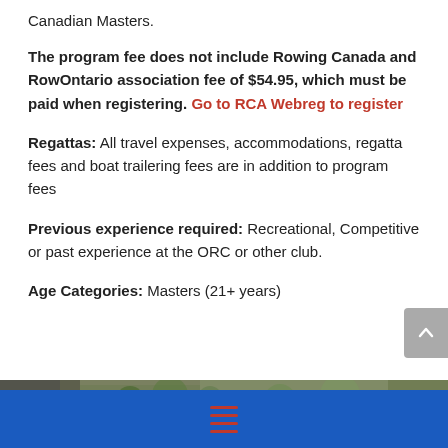Canadian Masters.
The program fee does not include Rowing Canada and RowOntario association fee of $54.95, which must be paid when registering. Go to RCA Webreg to register
Regattas: All travel expenses, accommodations, regatta fees and boat trailering fees are in addition to program fees
Previous experience required: Recreational, Competitive or past experience at the ORC or other club.
Age Categories: Masters (21+ years)
[Figure (photo): Outdoor scene with cars, trees, and greenery — appears to be a rowing club or park area]
Blue footer bar with hamburger menu icon